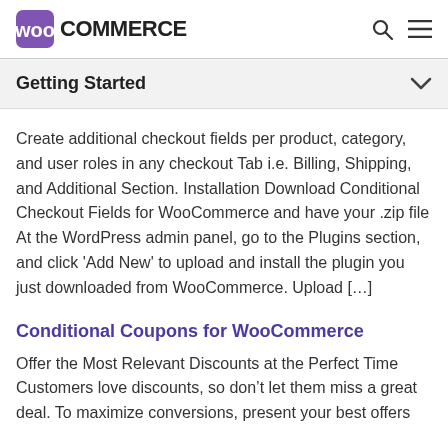WooCommerce
Getting Started
Create additional checkout fields per product, category, and user roles in any checkout Tab i.e. Billing, Shipping, and Additional Section. Installation Download Conditional Checkout Fields for WooCommerce and have your .zip file At the WordPress admin panel, go to the Plugins section, and click ‘Add New’ to upload and install the plugin you just downloaded from WooCommerce. Upload […]
Conditional Coupons for WooCommerce
Offer the Most Relevant Discounts at the Perfect Time Customers love discounts, so don’t let them miss a great deal. To maximize conversions, present your best offers